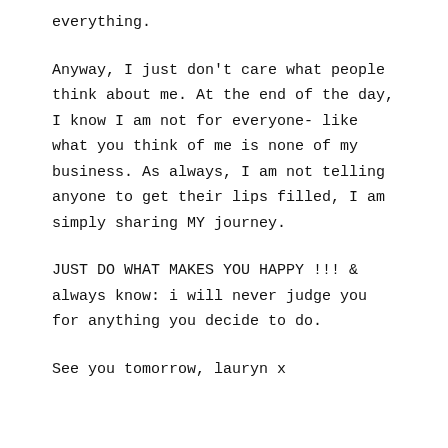everything.
Anyway, I just don't care what people think about me. At the end of the day, I know I am not for everyone- like what you think of me is none of my business. As always, I am not telling anyone to get their lips filled, I am simply sharing MY journey.
JUST DO WHAT MAKES YOU HAPPY !!! & always know: i will never judge you for anything you decide to do.
See you tomorrow, lauryn x